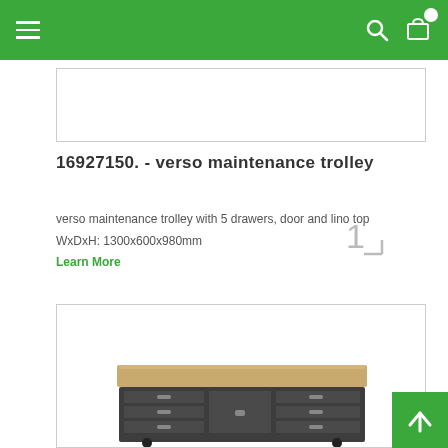Navigation bar with hamburger menu, search icon, and cart icon
[Figure (screenshot): Partial product card image placeholder at top]
16927150. - verso maintenance trolley
verso maintenance trolley with 5 drawers, door and lino top
WxDxH: 1300x600x980mm
Learn More
[Figure (photo): verso maintenance trolley product photo showing workbench with drawers and lino top surface]